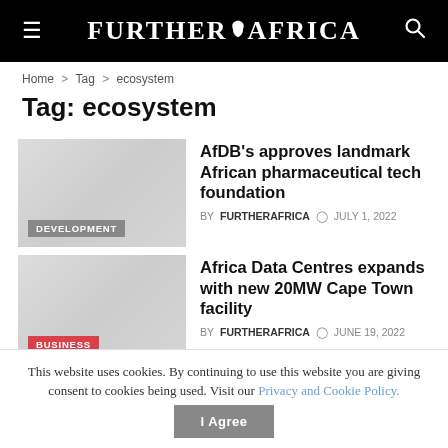FURTHER AFRICA
Home > Tag > ecosystem
Tag: ecosystem
[Figure (photo): Thumbnail image placeholder with DEVELOPMENT category label]
AfDB's approves landmark African pharmaceutical tech foundation
BY FURTHERAFRICA  JULY 1, 2022
[Figure (photo): Thumbnail image placeholder with BUSINESS category label]
Africa Data Centres expands with new 20MW Cape Town facility
BY FURTHERAFRICA  JUNE 19, 2022
This website uses cookies. By continuing to use this website you are giving consent to cookies being used. Visit our Privacy and Cookie Policy.